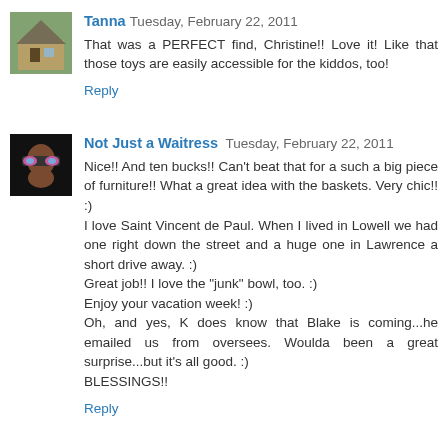[Figure (photo): Avatar thumbnail of a house with green foliage]
Tanna Tuesday, February 22, 2011
That was a PERFECT find, Christine!! Love it! Like that those toys are easily accessible for the kiddos, too!
Reply
[Figure (photo): Avatar thumbnail of a person wearing sunglasses with pink frames]
Not Just a Waitress Tuesday, February 22, 2011
Nice!! And ten bucks!! Can't beat that for a such a big piece of furniture!! What a great idea with the baskets. Very chic!! :)
I love Saint Vincent de Paul. When I lived in Lowell we had one right down the street and a huge one in Lawrence a short drive away. :)
Great job!! I love the "junk" bowl, too. :)
Enjoy your vacation week! :)
Oh, and yes, K does know that Blake is coming...he emailed us from oversees. Woulda been a great surprise...but it's all good. :)
BLESSINGS!!
Reply